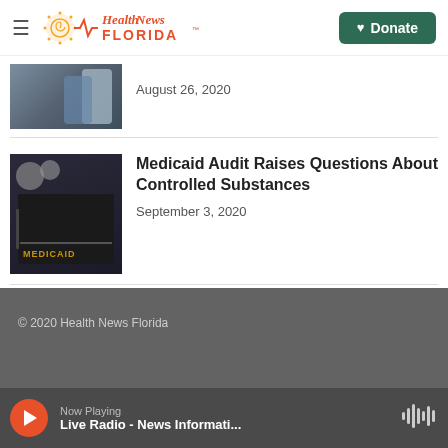Health News Florida | Donate
August 26, 2020
Medicaid Audit Raises Questions About Controlled Substances
September 3, 2020
© 2020 Health News Florida
Now Playing
Live Radio - News Informati...